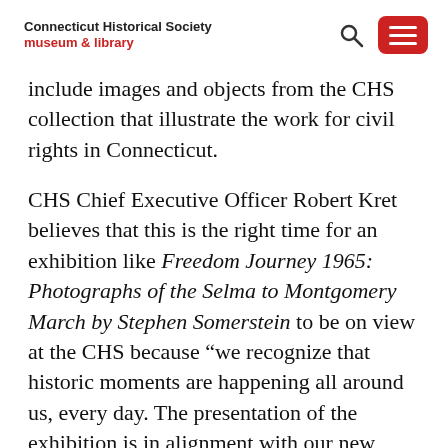Connecticut Historical Society museum & library
include images and objects from the CHS collection that illustrate the work for civil rights in Connecticut.
CHS Chief Executive Officer Robert Kret believes that this is the right time for an exhibition like Freedom Journey 1965: Photographs of the Selma to Montgomery March by Stephen Somerstein to be on view at the CHS because “we recognize that historic moments are happening all around us, every day. The presentation of the exhibition is in alignment with our new strategic plan and new mission. The